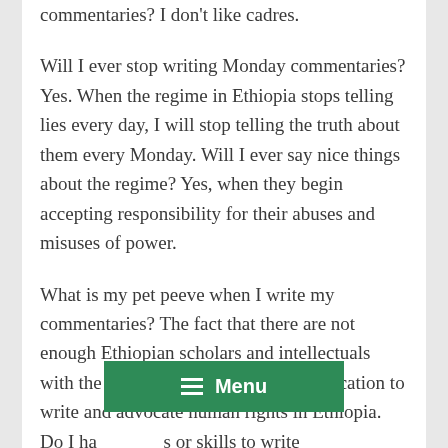commentaries? I don't like cadres.
Will I ever stop writing Monday commentaries? Yes. When the regime in Ethiopia stops telling lies every day, I will stop telling the truth about them every Monday. Will I ever say nice things about the regime? Yes, when they begin accepting responsibility for their abuses and misuses of power.
What is my pet peeve when I write my commentaries? The fact that there are not enough Ethiopian scholars and intellectuals with the passion, commitment and dedication to write and advocate human rights in Ethiopia. Do I ha          s or skills to write commenta          ody can do what I do. But there is          ust be